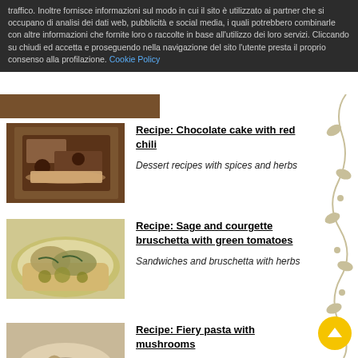traffico. Inoltre fornisce informazioni sul modo in cui il sito è utilizzato ai partner che si occupano di analisi dei dati web, pubblicità e social media, i quali potrebbero combinarle con altre informazioni che fornite loro o raccolte in base all'utilizzo dei loro servizi. Cliccando su chiudi ed accetta e proseguendo nella navigazione del sito l'utente presta il proprio consenso alla profilazione. Cookie Policy
[Figure (photo): Partial view of a baked chocolate cake with red chili, seen at top of page]
Recipe: Chocolate cake with red chili
Dessert recipes with spices and herbs
[Figure (photo): Photo of sage and courgette bruschetta with green tomatoes on a plate]
Recipe: Sage and courgette bruschetta with green tomatoes
Sandwiches and bruschetta with herbs
[Figure (photo): Photo of fiery pasta with mushrooms]
Recipe: Fiery pasta with mushrooms
Pasta with spices and herbs